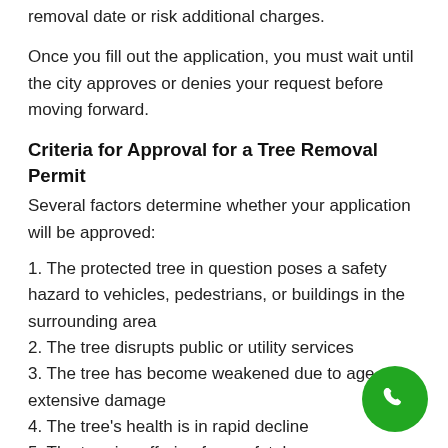replacement tree within three months of the removal date or risk additional charges.
Once you fill out the application, you must wait until the city approves or denies your request before moving forward.
Criteria for Approval for a Tree Removal Permit
Several factors determine whether your application will be approved:
1. The protected tree in question poses a safety hazard to vehicles, pedestrians, or buildings in the surrounding area
2. The tree disrupts public or utility services
3. The tree has become weakened due to age or extensive damage
4. The tree's health is in rapid decline
5. The tree is suffering from a fatal or